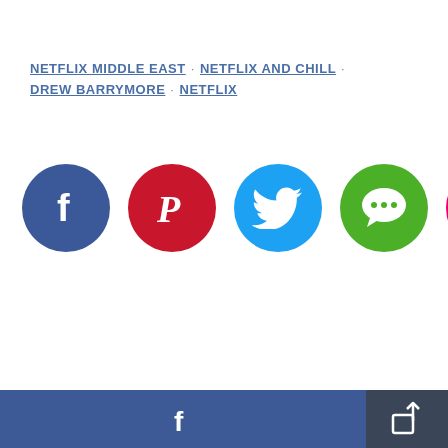NETFLIX MIDDLE EAST · NETFLIX AND CHILL · DREW BARRYMORE · NETFLIX
[Figure (infographic): Five social media share buttons: Facebook (dark blue circle with 'f'), Pinterest (dark red circle with 'P'), Twitter (light blue circle with bird), Messages (green circle with chat bubble), Email (pink/magenta circle with envelope)]
[Figure (infographic): Footer bar with Facebook share button (blue, wide) and a share/export icon button (dark grey)]